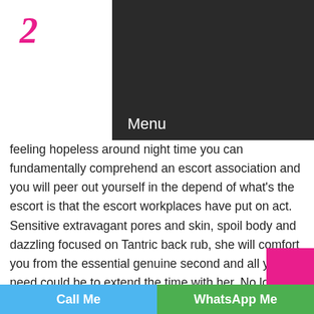Menu
feeling hopeless around night time you can fundamentally comprehend an escort association and you will peer out yourself in the depend of what's the escort is that the escort workplaces have put on act. Sensitive extravagant pores and skin, spoil body and dazzling focused on Tantric back rub, she will comfort you from the essential genuine second and all you'll need could be to extend the time with her. No longer simply is that she stunning, regardless, she is amazingly splendid as a suitable and glorious organization. Nicole in like manner offers outcalls to Kra Daadi's star dwelling. I may in like manner pass on you the slant of your past adoration intrigue. I may appear to be harmless, anyway I am open in a room. I may be all through you in any activity and I really like it. I passionately want to
Call Me   WhatsApp Me